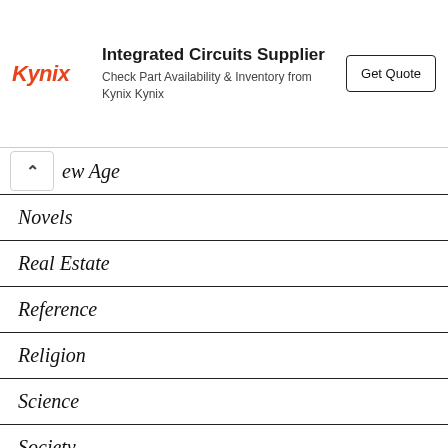[Figure (other): Kynix advertisement banner: logo 'Kynix' in red italic, title 'Integrated Circuits Supplier', subtitle 'Check Part Availability & Inventory from Kynix Kynix', and a 'Get Quote' button]
ew Age
Novels
Real Estate
Reference
Religion
Science
Society
Sports
Travel
Outdoors